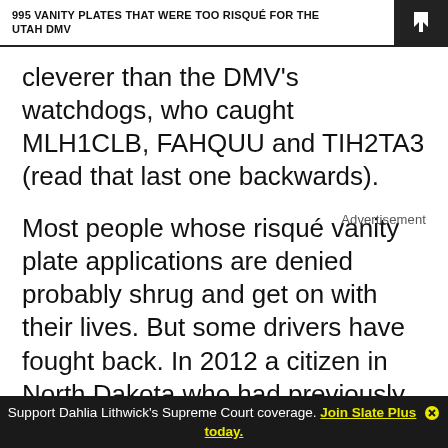995 VANITY PLATES THAT WERE TOO RISQUÉ FOR THE UTAH DMV
cleverer than the DMV's watchdogs, who caught MLH1CLB, FAHQUU and TIH2TA3 (read that last one backwards).
Most people whose risqué vanity plate applications are denied probably shrug and get on with their lives. But some drivers have fought back. In 2012 a citizen in North Dakota who had previously held the plate HONKY made an official appeal to the North
Support Dahlia Lithwick's Supreme Court coverage. Join Slate Plus today.